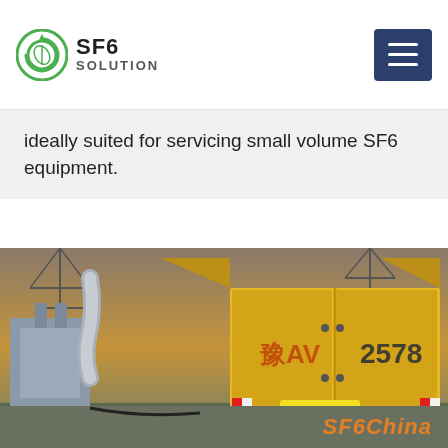SF6 SOLUTION
ideally suited for servicing small volume SF6 equipment.
Get Price
[Figure (photo): Yellow SF6 service truck with open rear doors parked next to large electrical equipment at a substation, with power transmission towers in background. License plate reads V2578. Text SF6China visible in bottom right corner.]